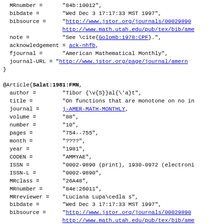MRnumber = "84b:10012",
  bibdate = "Wed Dec 3 17:17:33 MST 1997",
  bibsource = "http://www.jstor.org/journals/00029890
http://www.math.utah.edu/pub/tex/bib/ame
  note = "See \cite{Golomb:1978:CPF}.",
  acknowledgement = ack-nhfb,
  fjournal = "American Mathematical Monthly",
  journal-URL = "http://www.jstor.org/page/journal/amern
}

@Article{Salat:1981:FMN,
  author = "Tibor {\v{S}}al{\'a}t",
  title = "On functions that are monotone on no in
  journal = j-AMER-MATH-MONTHLY,
  volume = "88",
  number = "10",
  pages = "754--755",
  month = "????",
  year = "1981",
  CODEN = "AMMYAE",
  ISSN = "0002-9890 (print), 1930-0972 (electroni
  ISSN-L = "0002-9890",
  MRclass = "26A48",
  MRnumber = "84e:26011",
  MRreviewer = "Luciana Lupa\cedla s",
  bibdate = "Wed Dec 3 17:17:33 MST 1997",
  bibsource = "http://www.jstor.org/journals/00029890
http://www.math.utah.edu/pub/tex/bib/ame
  acknowledgement = ack-nhfb,
  fjournal = "American Mathematical Monthly",